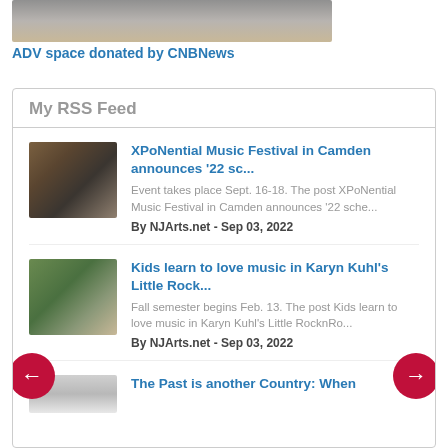[Figure (photo): Partial top image showing people and background, cropped at top]
ADV space donated by CNBNews
My RSS Feed
[Figure (photo): Musicians playing guitar at XPoNential Music Festival]
XPoNential Music Festival in Camden announces '22 sc...
Event takes place Sept. 16-18. The post XPoNential Music Festival in Camden announces '22 sche...
By NJArts.net - Sep 03, 2022
[Figure (photo): Adult and children with musical instruments outdoors]
Kids learn to love music in Karyn Kuhl's Little Rock...
Fall semester begins Feb. 13. The post Kids learn to love music in Karyn Kuhl's Little RocknRo...
By NJArts.net - Sep 03, 2022
[Figure (photo): Partial image for The Past is another Country article]
The Past is another Country: When